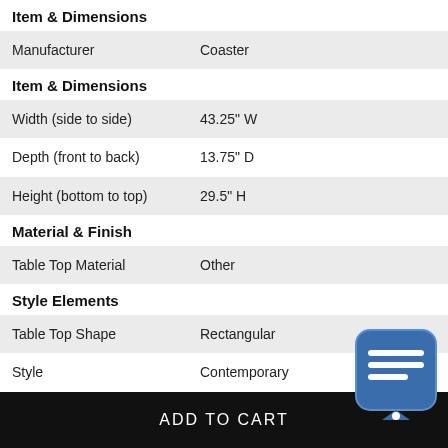Item & Dimensions
| Manufacturer | Coaster |
Item & Dimensions
| Width (side to side) | 43.25" W |
| Depth (front to back) | 13.75" D |
| Height (bottom to top) | 29.5" H |
Material & Finish
| Table Top Material | Other |
Style Elements
| Table Top Shape | Rectangular |
| Style | Contemporary |
ADD TO CART